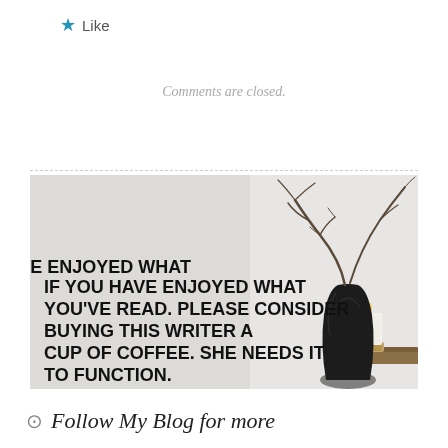★ Like
Comments are closed.
[Figure (photo): Decorative image with a black vase holding bare branches, a white candle on a wooden tray, and text overlay reading: IF YOU HAVE ENJOYED WHAT YOU'VE READ. PLEASE CONSIDER BUYING THIS WRITER A CUP OF COFFEE. SHE NEEDS IT TO FUNCTION.]
Follow My Blog for more